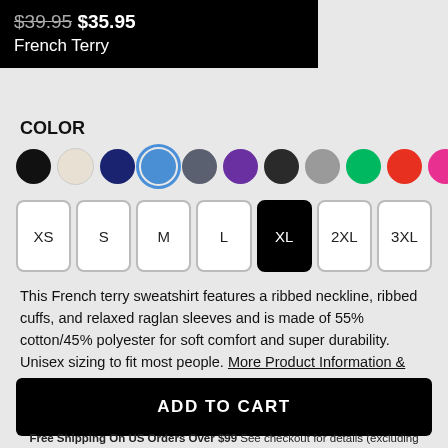$39.95 $35.95 French Terry
COLOR
[Figure (other): Color swatches: black, white/cream, navy, blue (selected), slate, purple, charcoal, gray, green, red, pink]
[Figure (other): Size selector buttons: XS, S, M, L, XL (selected/black), 2XL, 3XL]
This French terry sweatshirt features a ribbed neckline, ribbed cuffs, and relaxed raglan sleeves and is made of 55% cotton/45% polyester for soft comfort and super durability. Unisex sizing to fit most people. More Product Information & Size Chart
ADD TO CART
Free Shipping On US Orders Over $99 See checkout for details (excluding Shoes, Skateboards, and some Wall Art)